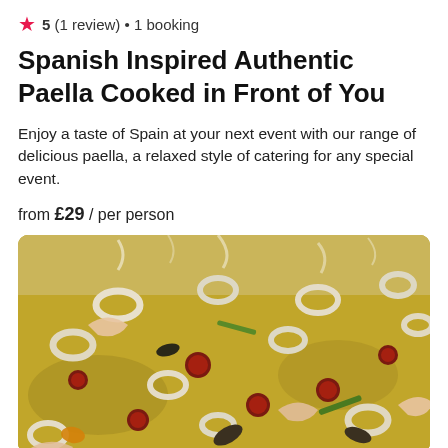★ 5 (1 review) • 1 booking
Spanish Inspired Authentic Paella Cooked in Front of You
Enjoy a taste of Spain at your next event with our range of delicious paella, a relaxed style of catering for any special event.
from £29 / per person
[Figure (photo): Close-up photo of a large pan of Spanish paella with yellow saffron rice, squid rings, prawns, chorizo slices, and various seafood, with steam rising]